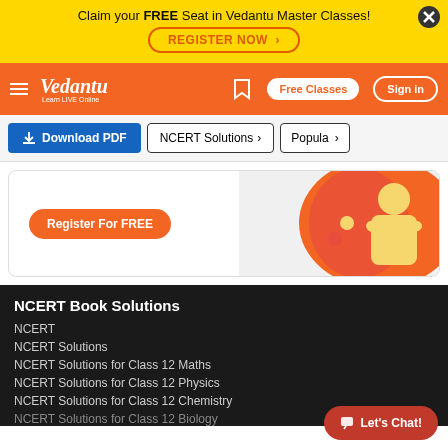Claim your FREE Seat in Vedantu Master Classes!
REGISTER NOW >
[Figure (screenshot): Vedantu navigation bar with logo, Free Classes button, and Sign in button on orange background]
Download PDF
NCERT Solutions >
Popula >
[Figure (illustration): Promotional banner card with Register For FREE button and illustration of a person in yellow against orange/red background]
NCERT Book Solutions
NCERT
NCERT Solutions
NCERT Solutions for Class 12 Maths
NCERT Solutions for Class 12 Physics
NCERT Solutions for Class 12 Chemistry
NCERT Solutions for Class 12 Biology